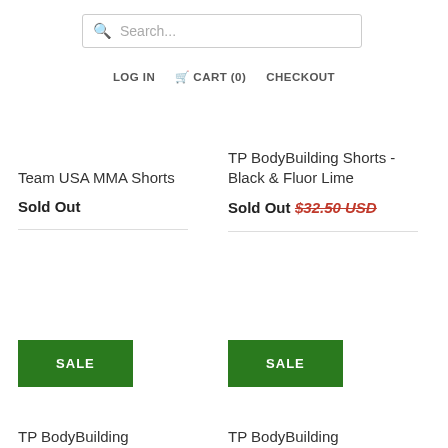Search...
LOG IN   CART (0)   CHECKOUT
Team USA MMA Shorts
Sold Out
TP BodyBuilding Shorts - Black & Fluor Lime
Sold Out $32.50 USD
SALE
SALE
TP BodyBuilding
TP BodyBuilding